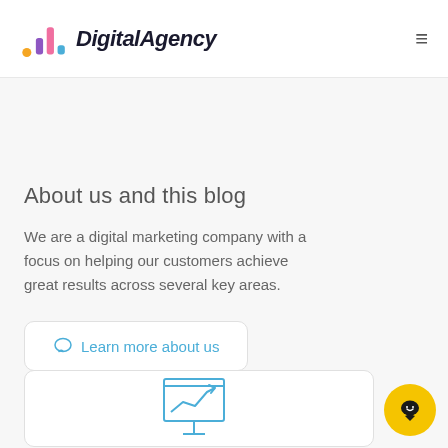DigitalAgency
About us and this blog
We are a digital marketing company with a focus on helping our customers achieve great results across several key areas.
Learn more about us
[Figure (illustration): Line chart icon on a presentation board — blue outline of a board on a stand with an upward trending line and arrow]